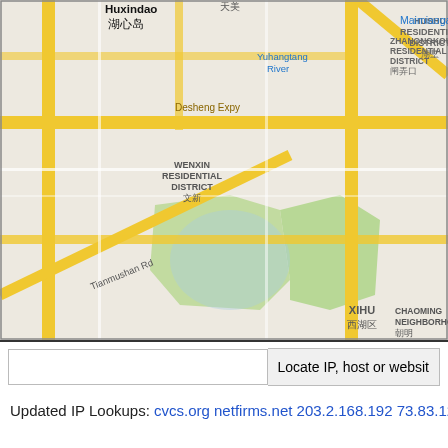[Figure (map): Google Maps screenshot showing Hangzhou (杭州市) city map with surrounding districts including Wenxin Residential District, Hushu Residential District, Zhanongkou Residential District, Xihu, Chaoming Neighborhood, Huxindao (湖心岛), Yuhangtang River, Desheng Expy, Maimiaogang, and Tianmushan Rd. Roads shown in yellow/orange. Green park areas visible.]
Updated IP Lookups: cvcs.org netfirms.net 203.2.168.192 73.83.123.